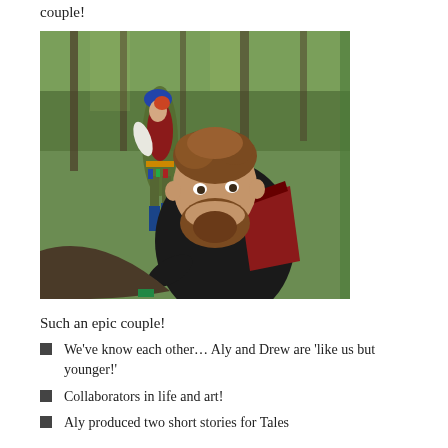couple!
[Figure (photo): Two people in fantasy/adventure costumes in a wooded outdoor setting. In the foreground, a bearded man in a dark jacket with red accents leans forward intensely. In the background, a woman wearing a red vest, helmet, and colorful accessories stands among trees.]
Such an epic couple!
We've know each other… Aly and Drew are 'like us but younger!'
Collaborators in life and art!
Aly produced two short stories for Tales